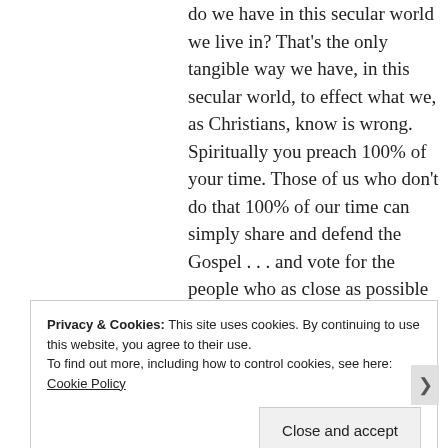do we have in this secular world we live in? That's the only tangible way we have, in this secular world, to effect what we, as Christians, know is wrong. Spiritually you preach 100% of your time. Those of us who don't do that 100% of our time can simply share and defend the Gospel . . . and vote for the people who as close as possible line up with our biblical views.

You can say you're choosing to take God's side when it comes to not taking
Privacy & Cookies: This site uses cookies. By continuing to use this website, you agree to their use.
To find out more, including how to control cookies, see here: Cookie Policy